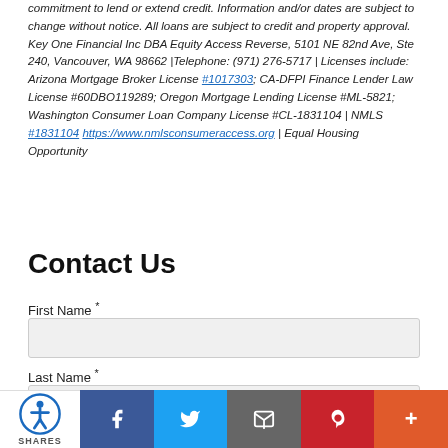commitment to lend or extend credit. Information and/or dates are subject to change without notice. All loans are subject to credit and property approval. Key One Financial Inc DBA Equity Access Reverse, 5101 NE 82nd Ave, Ste 240, Vancouver, WA 98662 |Telephone: (971) 276-5717 | Licenses include: Arizona Mortgage Broker License #1017303; CA-DFPI Finance Lender Law License #60DBO119289; Oregon Mortgage Lending License #ML-5821; Washington Consumer Loan Company License #CL-1831104 | NMLS #1831104 https://www.nmlsconsumeraccess.org | Equal Housing Opportunity
Contact Us
First Name *
Last Name *
[Figure (infographic): Social share bar with accessibility icon (0 SHARES), Facebook, Twitter, Email, Pinterest, and More (+) buttons]